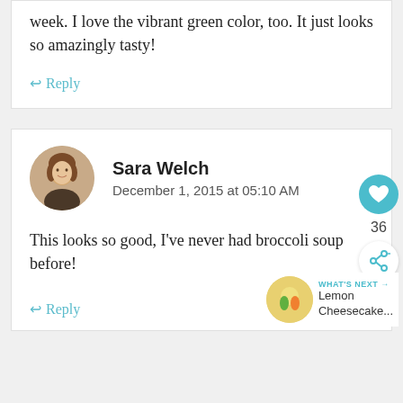week. I love the vibrant green color, too. It just looks so amazingly tasty!
↩ Reply
Sara Welch
December 1, 2015 at 05:10 AM
This looks so good, I've never had broccoli soup before!
↩ Reply